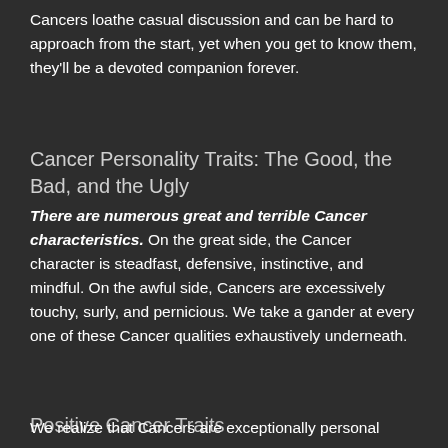Cancers loathe casual discussion and can be hard to approach from the start, yet when you get to know them, they'll be a devoted companion forever.
Cancer Personality Traits: The Good, the Bad, and the Ugly
There are numerous great and terrible Cancer characteristics. On the great side, the Cancer character is steadfast, defensive, instinctive, and mindful. On the awful side, Cancers are excessively touchy, surly, and pernicious. We take a gander at every one of these Cancer qualities exhaustively underneath.
Positive Cancer Traits
We realize that Cancers are exceptionally personal